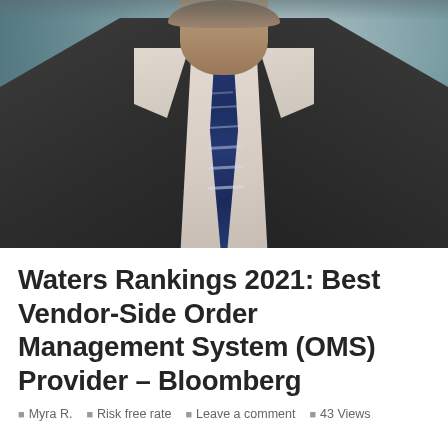[Figure (photo): Professional headshot of a man in a dark suit, light shirt, and navy striped tie. Only the torso and lower face/beard visible, with a blurred grey-blue background.]
Waters Rankings 2021: Best Vendor-Side Order Management System (OMS) Provider – Bloomberg
Myra R.   Risk free rate   Leave a comment   43 Views